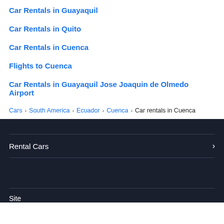Car Rentals in Guayaquil
Car Rentals in Quito
Car Rentals in Cuenca
Flights to Cuenca
Car Rentals in Guayaquil Jose Joaquin de Olmedo Airport
Cars › South America › Ecuador › Cuenca › Car rentals in Cuenca
Rental Cars
Site